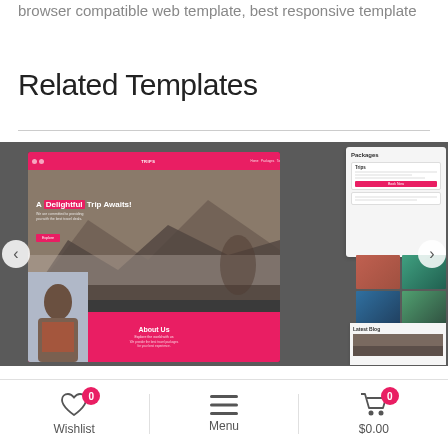browser compatible web template, best responsive template
Related Templates
[Figure (screenshot): Carousel showing a travel website template mockup on laptop/device screens. The main screen shows 'A Delightful Trip Awaits!' hero section with pink accent color, mountain background, About Us pink section, and photo grids. Navigation arrows on left and right.]
Wishlist 0   Menu   $0.00 0